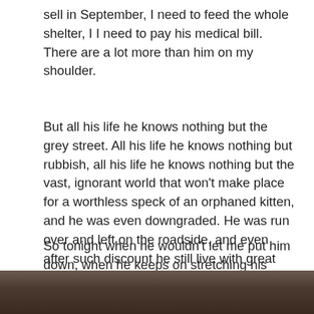sell in September, I need to feed the whole shelter, I I need to pay his medical bill. There are a lot more than him on my shoulder.
But all his life he knows nothing but the grey street. All his life he knows nothing but rubbish, all his life he knows nothing but the vast, ignorant world that won't make place for a worthless speck of an orphaned kitten, and he was even downgraded. He was run over and left on the roadside, and even after such discount he still live with great acceptance.
So tonight when he wouldn't let me put him down, when he keeps on stretching his arms up for me to hug, I put down my keyboard, turn off my computer, and sit with him in my arms.
[Figure (photo): Bottom portion of a photo showing what appears to be a dark-colored cat or animal, partially visible at the bottom of the page.]